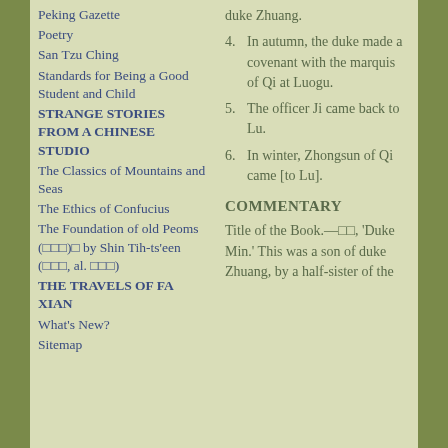Peking Gazette
Poetry
San Tzu Ching
Standards for Being a Good Student and Child
STRANGE STORIES FROM A CHINESE STUDIO
The Classics of Mountains and Seas
The Ethics of Confucius
The Foundation of old Peoms (□□□)□ by Shin Tih-ts'een (□□□, al. □□□)
THE TRAVELS OF FA XIAN
What's New?
Sitemap
duke Zhuang.
4. In autumn, the duke made a covenant with the marquis of Qi at Luogu.
5. The officer Ji came back to Lu.
6. In winter, Zhongsun of Qi came [to Lu].
COMMENTARY
Title of the Book.—□□, 'Duke Min.' This was a son of duke Zhuang, by a half-sister of the